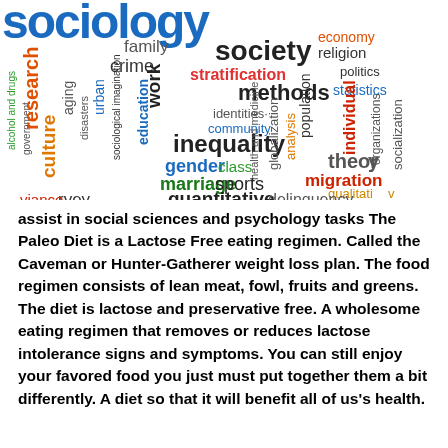[Figure (infographic): Sociology word cloud with terms including society, family, crime, stratification, methods, inequality, gender, marriage, quantitative, delinquency, migration, individual, theory, socialization, politics, statistics, organizations, religion, economy, population, globalization, analysis, community, identities, work, education, sociological imagination, urban, disasters, culture, aging, research, government, alcohol and drugs, rvey, viance, class, sports, qualitative, health and medicine]
assist in social sciences and psychology tasks The Paleo Diet is a Lactose Free eating regimen. Called the Caveman or Hunter-Gatherer weight loss plan. The food regimen consists of lean meat, fowl, fruits and greens. The diet is lactose and preservative free. A wholesome eating regimen that removes or reduces lactose intolerance signs and symptoms. You can still enjoy your favored food you just must put together them a bit differently. A diet so that it will benefit all of us's health.